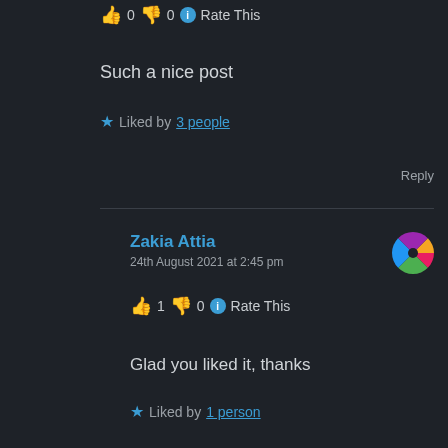👍 0 👎 0 ℹ Rate This
Such a nice post
★ Liked by 3 people
Reply
Zakia Attia
24th August 2021 at 2:45 pm
👍 1 👎 0 ℹ Rate This
Glad you liked it, thanks
★ Liked by 1 person